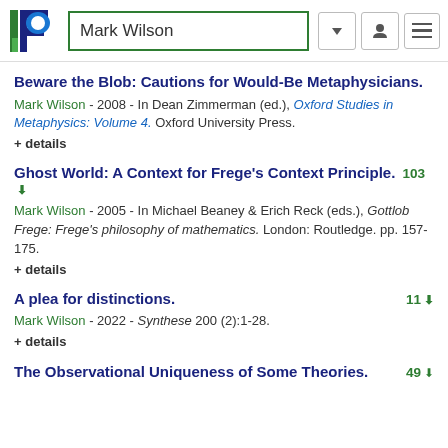Mark Wilson
Beware the Blob: Cautions for Would-Be Metaphysicians.
Mark Wilson - 2008 - In Dean Zimmerman (ed.), Oxford Studies in Metaphysics: Volume 4. Oxford University Press.
+ details
Ghost World: A Context for Frege's Context Principle. 103
Mark Wilson - 2005 - In Michael Beaney & Erich Reck (eds.), Gottlob Frege: Frege's philosophy of mathematics. London: Routledge. pp. 157-175.
+ details
A plea for distinctions. 11
Mark Wilson - 2022 - Synthese 200 (2):1-28.
+ details
The Observational Uniqueness of Some Theories. 49